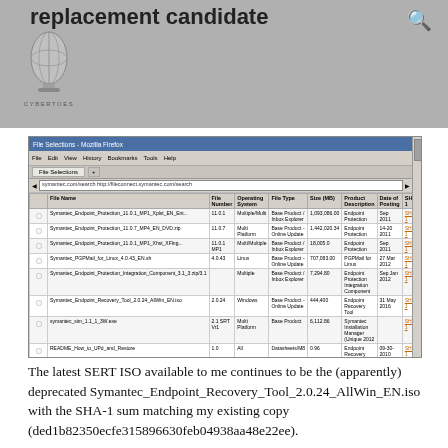replacement candidate
[Figure (screenshot): Mozilla Firefox browser window showing a file selection page at symantec.com with a table listing various Symantec product files including Symantec_Endpoint_Protection and other installers. Table has columns: File Name, File Number, Operating System, File Type, Size (MB), Product Description, Date of Posting, SHA-1. Bottom has Back and Begin Downloading buttons.]
The latest SERT ISO available to me continues to be the (apparently) deprecated Symantec_Endpoint_Recovery_Tool_2.0.24_AllWin_EN.iso with the SHA-1 sum matching my existing copy (ded1b82350ecfe315896630feb04938aa48e22ee).
Bug or not, someone goofed up. The alternative is that Symantec knew the software would quit working, chose to do nothing about it, and decided to be needlessly vague about the details.